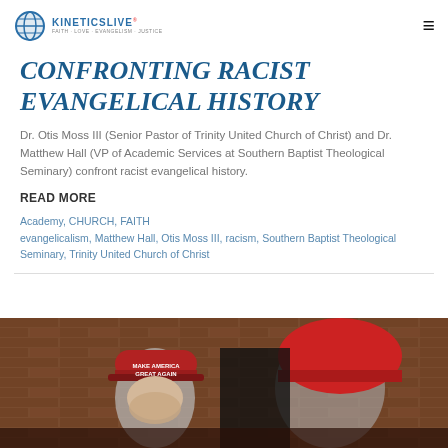KINETICSLIVE
CONFRONTING RACIST EVANGELICAL HISTORY
Dr. Otis Moss III (Senior Pastor of Trinity United Church of Christ) and Dr. Matthew Hall (VP of Academic Services at Southern Baptist Theological Seminary) confront racist evangelical history.
READ MORE
Academy, CHURCH, FAITH
evangelicalism, Matthew Hall, Otis Moss III, racism, Southern Baptist Theological Seminary, Trinity United Church of Christ
[Figure (photo): People wearing red MAGA hats in front of a brick wall background]